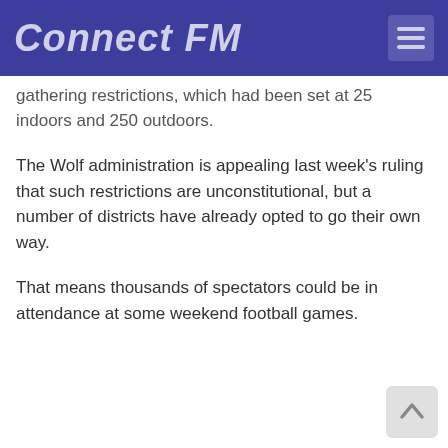Connect FM
gathering restrictions, which had been set at 25 indoors and 250 outdoors.
The Wolf administration is appealing last week's ruling that such restrictions are unconstitutional, but a number of districts have already opted to go their own way.
That means thousands of spectators could be in attendance at some weekend football games.